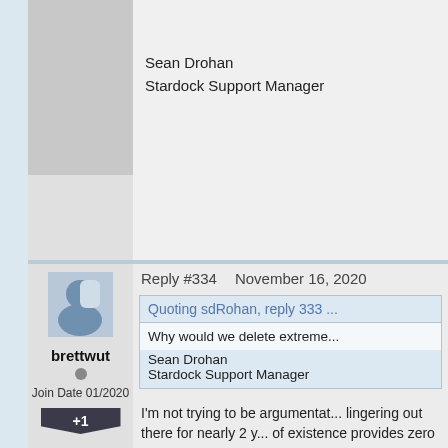Sean Drohan
Stardock Support Manager
Reply #334    November 16, 2020
[Figure (illustration): Avatar image for user brettwut - blue/grey partial face icon]
brettwut
Join Date 01/2020
+1
Quoting sdRohan, reply 333 ...
Why would we delete extreme...
Sean Drohan
Stardock Support Manager
I'm not trying to be argumentat... lingering out there for nearly 2 y... of existence provides zero reas...
I appreciate your reading all of ...